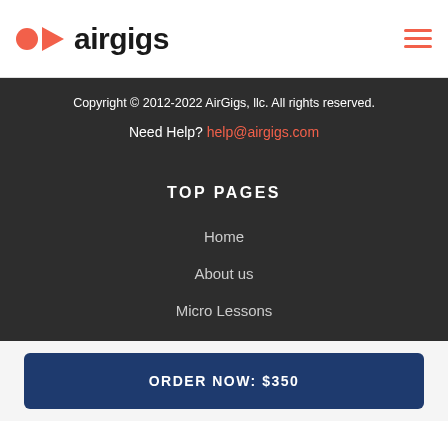airgigs
Copyright © 2012-2022 AirGigs, llc. All rights reserved.
Need Help? help@airgigs.com
TOP PAGES
Home
About us
Micro Lessons
ORDER NOW: $350